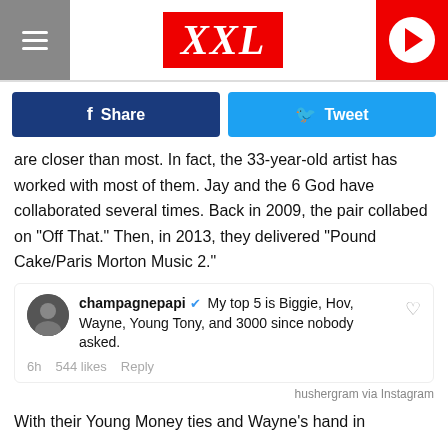XXL
[Figure (infographic): Share and Tweet social media buttons]
are closer than most. In fact, the 33-year-old artist has worked with most of them. Jay and the 6 God have collaborated several times. Back in 2009, the pair collabed on "Off That." Then, in 2013, they delivered "Pound Cake/Paris Morton Music 2."
[Figure (screenshot): Instagram comment by champagnepapi: My top 5 is Biggie, Hov, Wayne, Young Tony, and 3000 since nobody asked. 6h 544 likes Reply]
hushergram via Instagram
With their Young Money ties and Wayne's hand in